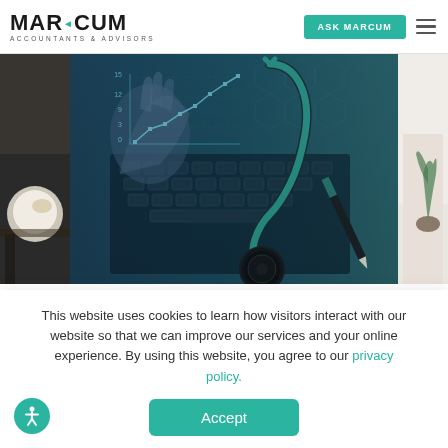MARCUM ACCOUNTANTS & ADVISORS | ASK MARCUM
[Figure (photo): Hero image showing a composite of a stethoscope, a hand touching a digital financial chart display, and a keyboard — representing medical and financial analytics.]
AUGUST 24, 2022
Outlook for Consolidation of Medical and Dental Practices
This website uses cookies to learn how visitors interact with our website so that we can improve our services and your online experience. By using this website, you agree to our privacy policy.
Accept